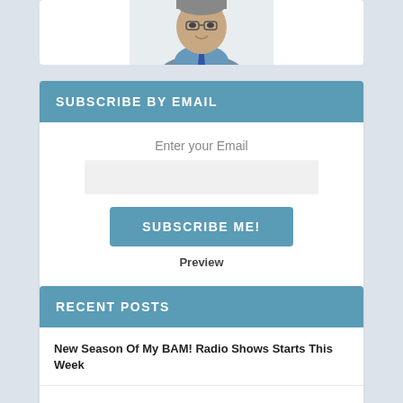[Figure (photo): Partial view of a person's head and shoulders, wearing a blue shirt and tie, cropped at top]
SUBSCRIBE BY EMAIL
Enter your Email
SUBSCRIBE ME!
Preview
RECENT POSTS
New Season Of My BAM! Radio Shows Starts This Week
Quote Of The Day: The Data-Driven Train To Nowhere